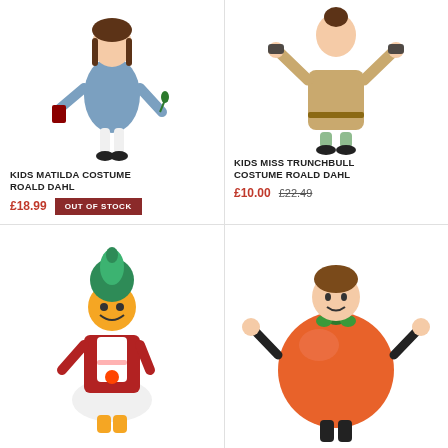[Figure (photo): Girl wearing Matilda blue dress costume, holding a book and small plant]
KIDS MATILDA COSTUME ROALD DAHL
£18.99  OUT OF STOCK
[Figure (photo): Girl wearing Miss Trunchbull tan coat costume with black shoes and green socks]
KIDS MISS TRUNCHBULL COSTUME ROALD DAHL
£10.00  £22.49
[Figure (photo): Child in Oompa Loompa costume with green hair, red and white outfit]
[Figure (photo): Child in giant peach/pumpkin orange costume from James and the Giant Peach]